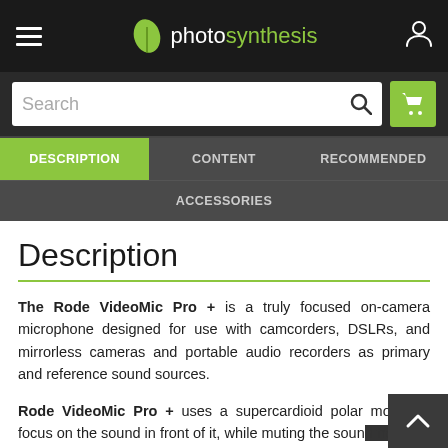photosynthesis
DESCRIPTION | CONTENT | RECOMMENDED | ACCESSORIES
Description
The Rode VideoMic Pro + is a truly focused on-camera microphone designed for use with camcorders, DSLRs, and mirrorless cameras and portable audio recorders as primary and reference sound sources.
Rode VideoMic Pro + uses a supercardioid polar model to focus on the sound in front of it, while muting the sound the side and back. Its low-noise electronics and se...